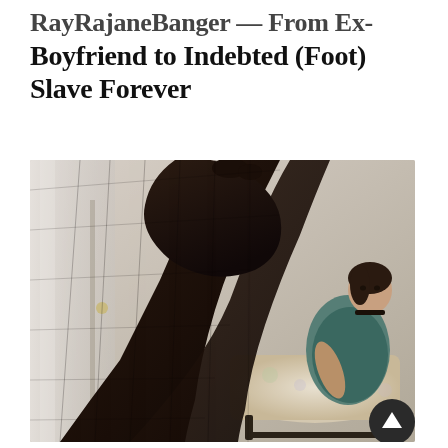RayRajaneBanger — From Ex-Boyfriend to Indebted (Foot) Slave Forever
[Figure (photo): A woman sitting in a floral armchair wearing a teal top and black stockings, with her feet raised toward the camera in the foreground.]